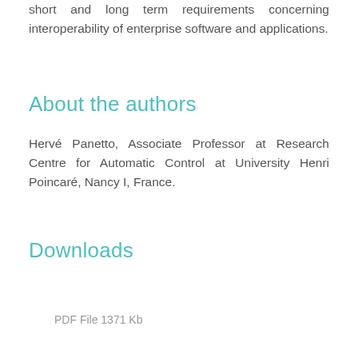short and long term requirements concerning interoperability of enterprise software and applications.
About the authors
Hervé Panetto, Associate Professor at Research Centre for Automatic Control at University Henri Poincaré, Nancy I, France.
Downloads
PDF File 1371 Kb